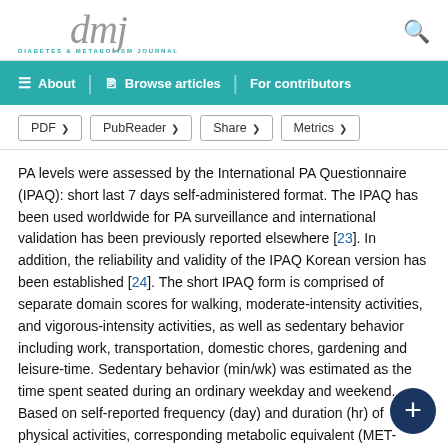dmj — DIABETES & METABOLISM JOURNAL
About | Browse articles | For contributors
PDF > PubReader > Share > Metrics >
PA levels were assessed by the International PA Questionnaire (IPAQ): short last 7 days self-administered format. The IPAQ has been used worldwide for PA surveillance and international validation has been previously reported elsewhere [23]. In addition, the reliability and validity of the IPAQ Korean version has been established [24]. The short IPAQ form is comprised of separate domain scores for walking, moderate-intensity activities, and vigorous-intensity activities, as well as sedentary behavior including work, transportation, domestic chores, gardening and leisure-time. Sedentary behavior (min/wk) was estimated as the time spent seated during an ordinary weekday and weekend. Based on self-reported frequency (day) and duration (hr) of physical activities, corresponding metabolic equivalent (MET-hr/wk) values were calculated using the